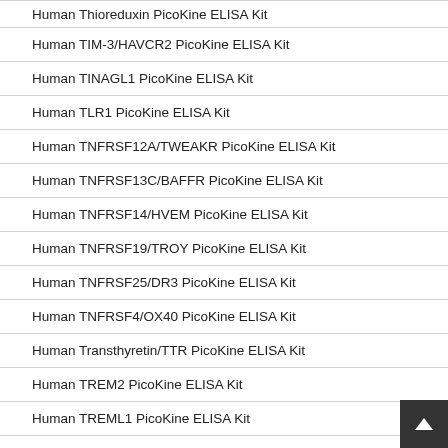Human Thioredoxin PicoKine ELISA Kit
Human TIM-3/HAVCR2 PicoKine ELISA Kit
Human TINAGL1 PicoKine ELISA Kit
Human TLR1 PicoKine ELISA Kit
Human TNFRSF12A/TWEAKR PicoKine ELISA Kit
Human TNFRSF13C/BAFFR PicoKine ELISA Kit
Human TNFRSF14/HVEM PicoKine ELISA Kit
Human TNFRSF19/TROY PicoKine ELISA Kit
Human TNFRSF25/DR3 PicoKine ELISA Kit
Human TNFRSF4/OX40 PicoKine ELISA Kit
Human Transthyretin/TTR PicoKine ELISA Kit
Human TREM2 PicoKine ELISA Kit
Human TREML1 PicoKine ELISA Kit
Human TRKC PicoKine ELISA Kit